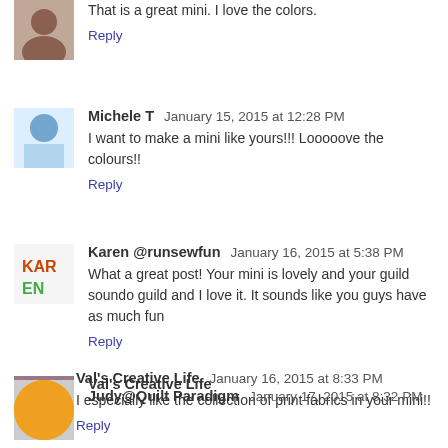That is a great mini. I love the colors.
Reply
Michele T  January 15, 2015 at 12:28 PM
I want to make a mini like yours!!! Looooove the colours!!
Reply
Karen @runsewfun  January 16, 2015 at 5:38 PM
What a great post! Your mini is lovely and your guild soundo guild and I love it. It sounds like you guys have as much fun
Reply
Val's Creative Life  January 16, 2015 at 8:33 PM
I especially like the collection of print fabrics in your mini!!
Reply
Judy@Quilt Paradigm  January 17, 2015 at 8:32 PM